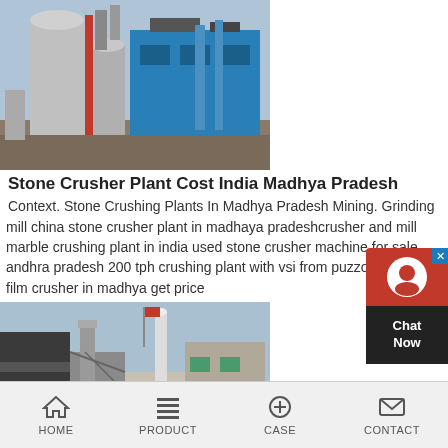[Figure (photo): Industrial stone crushing plant with silos and blue buildings]
Stone Crusher Plant Cost India Madhya Pradesh
Context. Stone Crushing Plants In Madhya Pradesh Mining. Grinding mill china stone crusher plant in madhaya pradeshcrusher and mill marble crushing plant in india used stone crusher machine for sale andhra pradesh 200 tph crushing plant with vsi from puzzolana india film crusher in madhya get price
[Figure (photo): Stone crusher unit industrial facility with machinery and buildings]
Stone Crusher Unit For Sale In Andhra Pradesh– Rock
Stone Crusher Unit For Sale In Andhra Pradesh TV in India